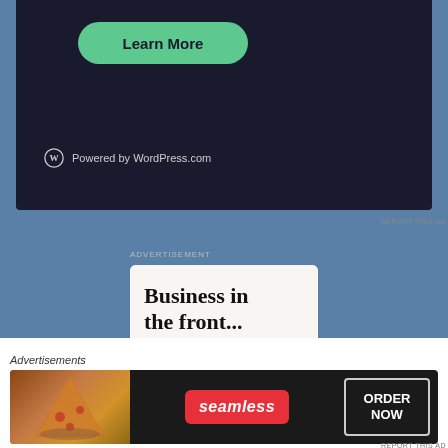[Figure (screenshot): Dark background WordPress.com ad banner with a green 'Learn More' button and WordPress logo with 'Powered by WordPress.com' text]
REPORT THIS AD
ADVERTISEMENT
[Figure (screenshot): WordPress advertisement with light beige background reading 'Business in the front...' and a pink/purple gradient section reading 'WordPress in the back.']
[Figure (screenshot): Seamless food delivery advertisement with pizza image, red Seamless logo badge, and 'ORDER NOW' button on dark background]
Advertisements
REPORT THIS AD